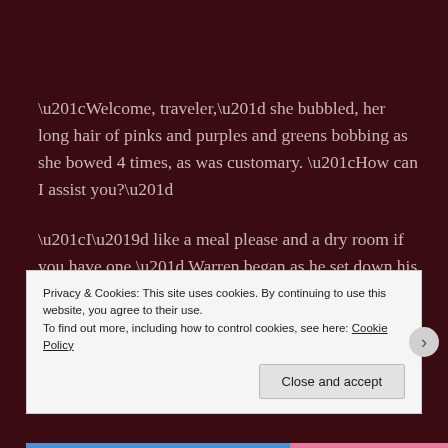“Welcome, traveler,” she bubbled, her long hair of pinks and purples and greens bobbing as she bowed 4 times, as was customary. “How can I assist you?”
“I’d like a meal please and a dry room if you have one.” Warren began as he set down his pack and then pulled off his oilskin coat, holding it out for her. The Naiadi girl merely looked at it.
Privacy & Cookies: This site uses cookies. By continuing to use this website, you agree to their use.
To find out more, including how to control cookies, see here: Cookie Policy